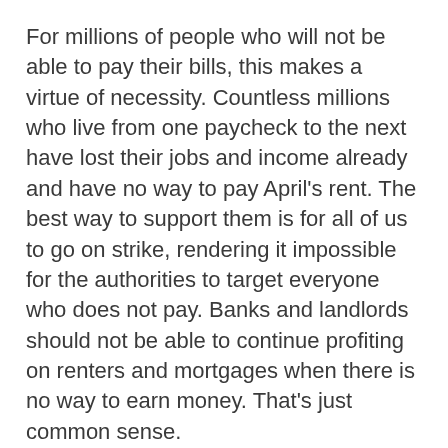For millions of people who will not be able to pay their bills, this makes a virtue of necessity. Countless millions who live from one paycheck to the next have lost their jobs and income already and have no way to pay April's rent. The best way to support them is for all of us to go on strike, rendering it impossible for the authorities to target everyone who does not pay. Banks and landlords should not be able to continue profiting on renters and mortgages when there is no way to earn money. That's just common sense.
This idea has already been circulating in many different forms. In Melbourne, Australia, the local branch of the Industrial Workers of the World is promoting a COVID-19 Rent Strike Pledge. Rose